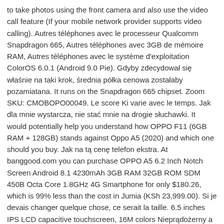to take photos using the front camera and also use the video call feature (If your mobile network provider supports video calling). Autres téléphones avec le processeur Qualcomm Snapdragon 665, Autres téléphones avec 3GB de mémoire RAM, Autres téléphones avec le système d'exploitation ColorOS 6.0.1 (Android 9.0 Pie). Gdyby zdecydował się właśnie na taki krok, średnia półka cenowa zostałaby pozamiatana. It runs on the Snapdragon 665 chipset. Zoom SKU: CMOBOPO00049. Le score Ki varie avec le temps. Jak dla mnie wystarcza, nie stać mnie na drogie słuchawki. It would potentially help you understand how OPPO F11 (6GB RAM + 128GB) stands against Oppo A5 (2020) and which one should you buy. Jak na tą cenę telefon ekstra. At banggood.com you can purchase OPPO A5 6.2 Inch Notch Screen Android 8.1 4230mAh 3GB RAM 32GB ROM SDM 450B Octa Core 1.8GHz 4G Smartphone for only $180.26, which is 99% less than the cost in Jumia (KSh 23,999.00). Si je devais changer quelque chose, ce serait la taille. 6.5 inches IPS LCD capacitive touchscreen, 16M colors Nieprądożerny a miły dla oka.
Kopiowanie danych, układu graficznego czy jakichkolwiek innych informacji bez pisemnej zgody Nous ratissons constamment les prix parmi plus de